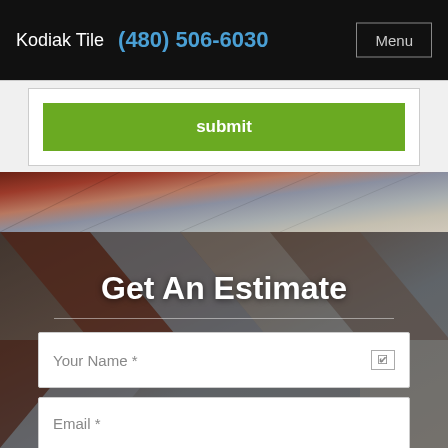Kodiak Tile  (480) 506-6030  Menu
submit
[Figure (photo): Herringbone pattern tile flooring in various wood-look colors including reddish-brown, gray, and beige tones]
Get An Estimate
Your Name *
Email *